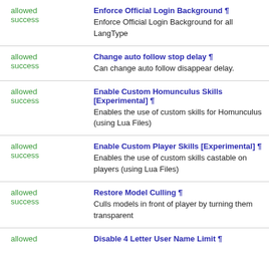| Status | Entry |
| --- | --- |
| allowed
success | Enforce Official Login Background ¶
Enforce Official Login Background for all LangType |
| allowed
success | Change auto follow stop delay ¶
Can change auto follow disappear delay. |
| allowed
success | Enable Custom Homunculus Skills [Experimental] ¶
Enables the use of custom skills for Homunculus (using Lua Files) |
| allowed
success | Enable Custom Player Skills [Experimental] ¶
Enables the use of custom skills castable on players (using Lua Files) |
| allowed
success | Restore Model Culling ¶
Culls models in front of player by turning them transparent |
| allowed | Disable 4 Letter User Name Limit ¶ |